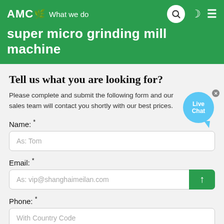AMC | What we do
super micro grinding mill machine
Tell us what you are looking for?
Please complete and submit the following form and our sales team will contact you shortly with our best prices.
Name: *
As: Tom
Email: *
As: vip@shanghaimeilan.com
Phone: *
With Country Code